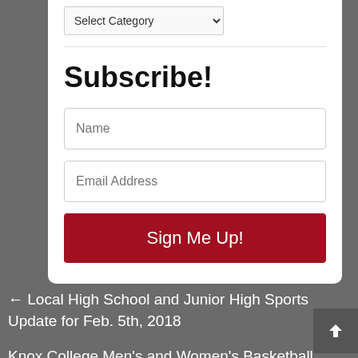[Figure (screenshot): Dropdown select box with 'Select Category' placeholder]
Subscribe!
[Figure (screenshot): Name input field with placeholder text 'Name']
[Figure (screenshot): Email Address input field with placeholder text 'Email Address']
[Figure (screenshot): Red 'Sign Me Up!' submit button]
← Local High School and Junior High Sports Update for Feb. 5th, 2018
Knox College Men's and Women's Basketball Splits Home Contests →